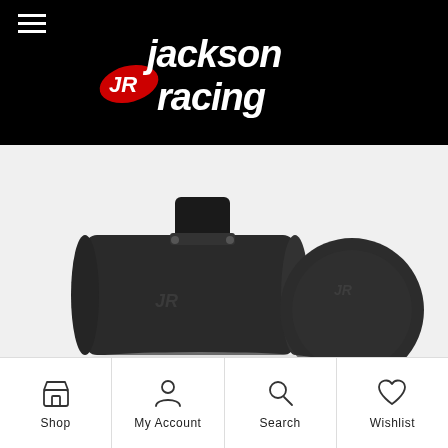[Figure (logo): Jackson Racing logo — white italic text on black background with red racing emblem]
NEWS
[Figure (photo): Black aluminum cylindrical air intake / BOV component with Jackson Racing JR logo embossed, shown with cap separated, on white background]
Shop
My Account
Search
Wishlist